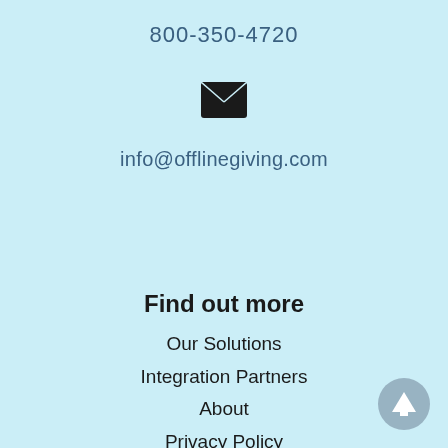800-350-4720
[Figure (illustration): Email envelope icon, black, centered]
info@offlinegiving.com
Find out more
Our Solutions
Integration Partners
About
Privacy Policy
[Figure (illustration): Circular gray scroll-to-top button with white upward arrow, bottom right corner]